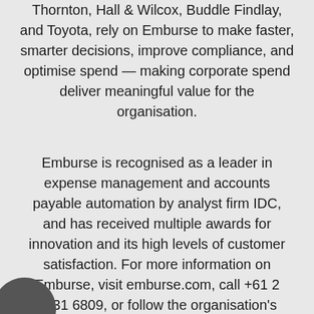Thornton, Hall & Wilcox, Buddle Findlay, and Toyota, rely on Emburse to make faster, smarter decisions, improve compliance, and optimise spend — making corporate spend deliver meaningful value for the organisation.
Emburse is recognised as a leader in expense management and accounts payable automation by analyst firm IDC, and has received multiple awards for innovation and its high levels of customer satisfaction. For more information on Emburse, visit emburse.com, call +61 2 9331 6809, or follow the organisation's social channels at @emburse.